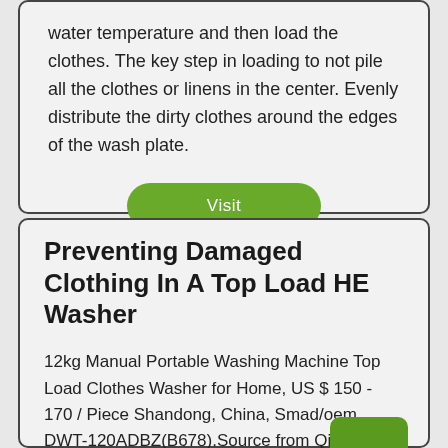water temperature and then load the clothes. The key step in loading to not pile all the clothes or linens in the center. Evenly distribute the dirty clothes around the edges of the wash plate.
Visit
Preventing Damaged Clothing In A Top Load HE Washer
12kg Manual Portable Washing Machine Top Load Clothes Washer for Home, US $ 150 - 170 / Piece Shandong, China, Smad/oem, DWT-120ADBZ(B678).Source from Qingdao Smad